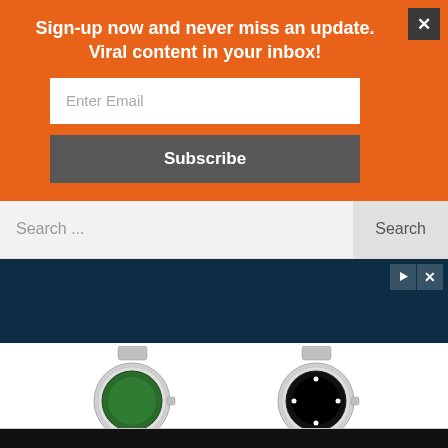Sign-up now and never miss an update. Viral content in your inbox!
Enter Email
Subscribe
Search ...
Search
[Figure (screenshot): Advertisement banner showing two Rolex watches — one with a green bezel and one with a black bezel — against a dark navy background. Ad controls (play and close) are visible in the top right corner.]
Privacy & Cookies: This site uses cookies. By continuing to use this website, you agree to their use. To find out more, including how to control cookies, see our privacy policy.
Close and Accept  No  Privacy policy